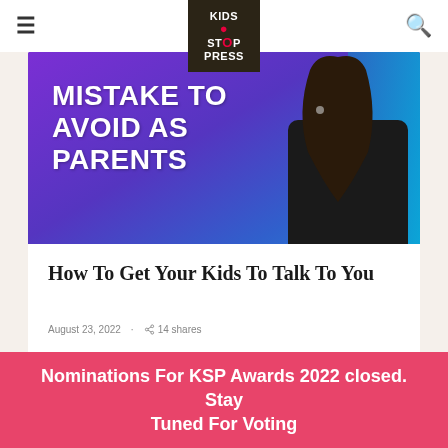Kids Stop Press
[Figure (photo): Promotional image with purple/blue gradient background showing text 'MISTAKE TO AVOID AS PARENTS' by Mansi Zaveri, with a woman in black outfit on the right side]
How To Get Your Kids To Talk To You
August 23, 2022 · 14 shares
Nominations For KSP Awards 2022 closed. Stay Tuned For Voting